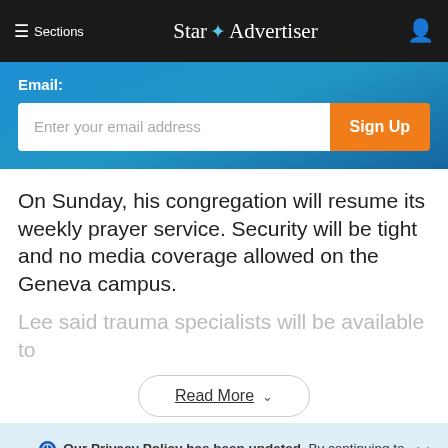≡ Sections | Star Advertiser
[Figure (screenshot): Email sign-up form with 'Enter your email address' input and orange 'Sign Up' button on a blue gradient background]
On Sunday, his congregation will resume its weekly prayer service. Security will be tight and no media coverage allowed on the Geneva campus.
Lee said trauma specialists will be available to
Read More
Our Privacy Policy has been updated. By continuing to use our site, you are acknowledging and agreeing to our updated Privacy Policy and our Terms of Service. I Agree